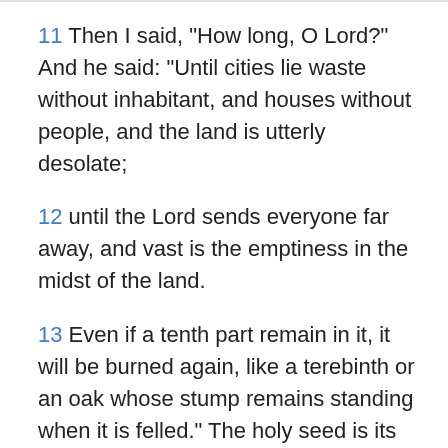11 Then I said, "How long, O Lord?" And he said: "Until cities lie waste without inhabitant, and houses without people, and the land is utterly desolate;
12 until the Lord sends everyone far away, and vast is the emptiness in the midst of the land.
13 Even if a tenth part remain in it, it will be burned again, like a terebinth or an oak whose stump remains standing when it is felled." The holy seed is its stump.